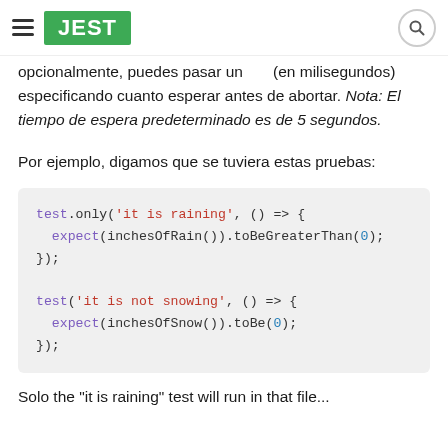JEST
opcionalmente, puedes pasar un [timeout] (en milisegundos) especificando cuanto esperar antes de abortar. Nota: El tiempo de espera predeterminado es de 5 segundos.
Por ejemplo, digamos que se tuviera estas pruebas:
[Figure (screenshot): Code block showing test.only and test functions with Jest syntax]
Solo the "it is raining" test will run in that file...